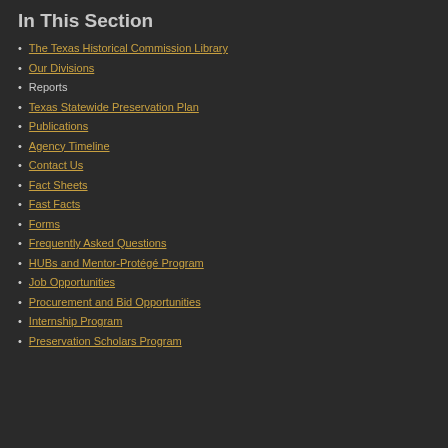In This Section
The Texas Historical Commission Library
Our Divisions
Reports
Texas Statewide Preservation Plan
Publications
Agency Timeline
Contact Us
Fact Sheets
Fast Facts
Forms
Frequently Asked Questions
HUBs and Mentor-Protégé Program
Job Opportunities
Procurement and Bid Opportunities
Internship Program
Preservation Scholars Program